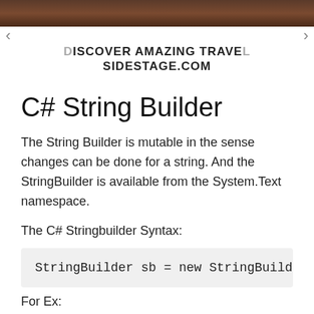[Figure (screenshot): Ad banner with dark/brown image strip at top, navigation arrows, and text 'DISCOVER AMAZING TRAVEL SIDESTAGE.COM']
C# String Builder
The String Builder is mutable in the sense changes can be done for a string. And the StringBuilder is available from the System.Text namespace.
The C# Stringbuilder Syntax:
StringBuilder sb = new StringBuilder("string
For Ex: